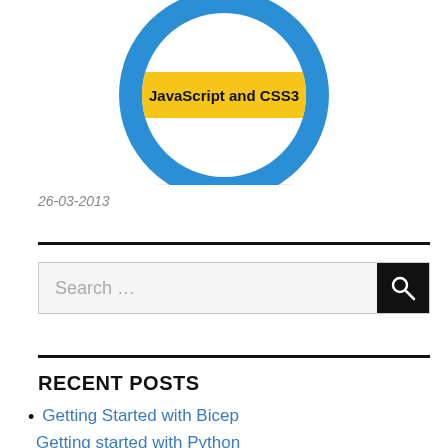[Figure (illustration): Circular badge/logo with blue ring border, white inner area, and yellow horizontal band across the center with text 'JavaScript and CSS3']
26-03-2013
Search ...
RECENT POSTS
Getting Started with Bicep
Getting started with Python